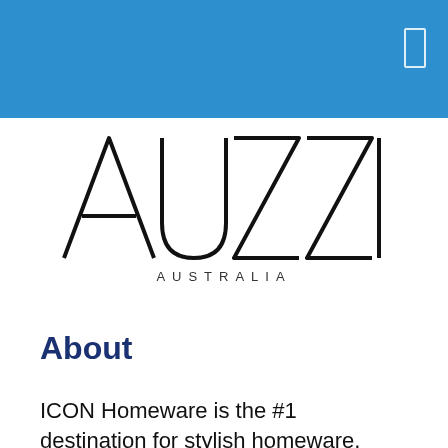[Figure (logo): AUZZI AUSTRALIA wordmark logo in black on white background. Large stylized letters A U Z Z I with geometric thin-line construction, and AUSTRALIA in spaced capitals below.]
About
ICON Homeware is the #1 destination for stylish homeware, furniture, rugs, lighting, manchester and